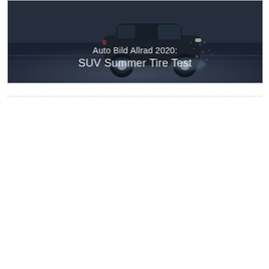[Figure (photo): A dark SUV car driving on wet road with water spray, photographed in moody blue-grey tones. Overlaid white text reads 'Auto Bild Allrad 2020: SUV Summer Tire Test'.]